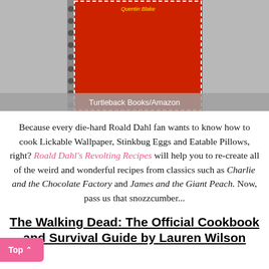[Figure (photo): Book cover of Roald Dahl's Revolting Recipes with red background and illustrated characters, shown against a grey background. Label reads: Turtleback Books/Amazon]
Turtleback Books/Amazon
Because every die-hard Roald Dahl fan wants to know how to cook Lickable Wallpaper, Stinkbug Eggs and Eatable Pillows, right? Roald Dahl's Revolting Recipes will help you to re-create all of the weird and wonderful recipes from classics such as Charlie and the Chocolate Factory and James and the Giant Peach. Now, pass us that snozzcumber...
The Walking Dead: The Official Cookbook and Survival Guide by Lauren Wilson